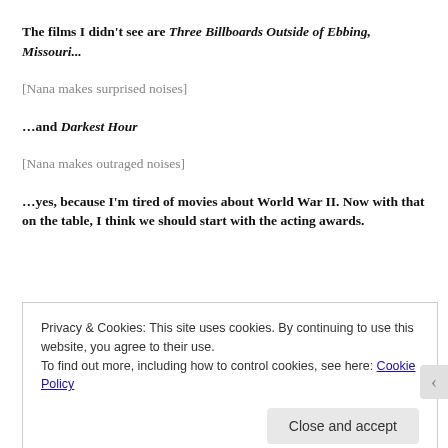The films I didn't see are Three Billboards Outside of Ebbing, Missouri...
[Nana makes surprised noises]
…and Darkest Hour
[Nana makes outraged noises]
…yes, because I'm tired of movies about World War II. Now with that on the table, I think we should start with the acting awards.
Privacy & Cookies: This site uses cookies. By continuing to use this website, you agree to their use. To find out more, including how to control cookies, see here: Cookie Policy
Close and accept